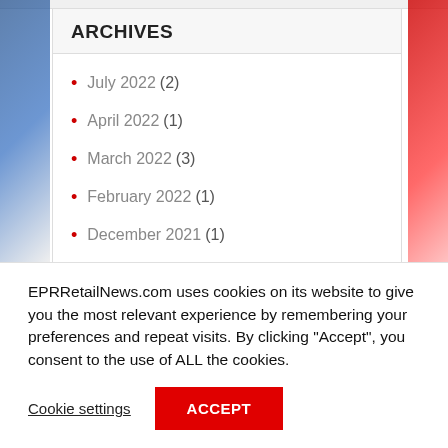ARCHIVES
July 2022 (2)
April 2022 (1)
March 2022 (3)
February 2022 (1)
December 2021 (1)
EPRRetailNews.com uses cookies on its website to give you the most relevant experience by remembering your preferences and repeat visits. By clicking “Accept”, you consent to the use of ALL the cookies.
Cookie settings
ACCEPT